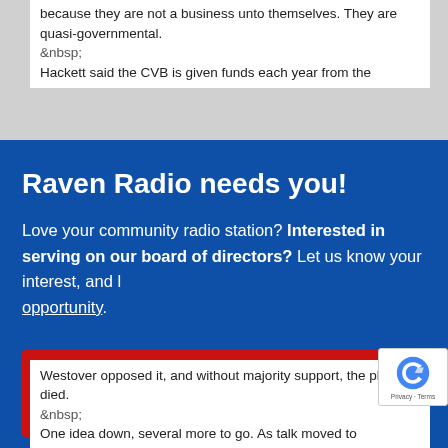because they are not a business unto themselves. They are quasi-governmental.
&nbsp;
Hackett said the CVB is given funds each year from the
Raven Radio needs you!
Love your community radio station? Interested in serving on our board of directors? Let us know your interest, and learn more about this opportunity.
Click here!
Westover opposed it, and without majority support, the plan died.
&nbsp;
One idea down, several more to go. As talk moved to